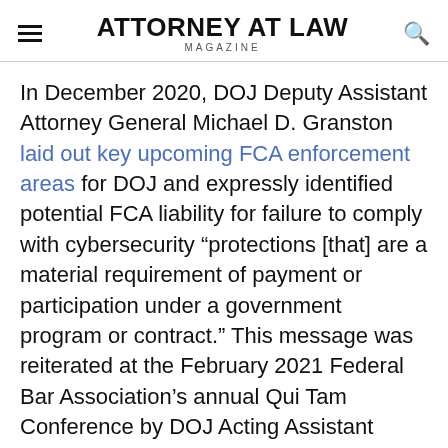ATTORNEY AT LAW MAGAZINE
In December 2020, DOJ Deputy Assistant Attorney General Michael D. Granston laid out key upcoming FCA enforcement areas for DOJ and expressly identified potential FCA liability for failure to comply with cybersecurity “protections [that] are a material requirement of payment or participation under a government program or contract.” This message was reiterated at the February 2021 Federal Bar Association’s annual Qui Tam Conference by DOJ Acting Assistant Attorney General (AAG) Brian Boynton.